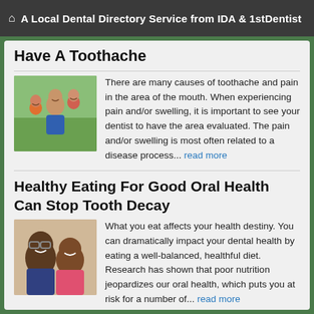A Local Dental Directory Service from IDA & 1stDentist
Have A Toothache
[Figure (photo): Family photo with adults and children smiling outdoors]
There are many causes of toothache and pain in the area of the mouth. When experiencing pain and/or swelling, it is important to see your dentist to have the area evaluated. The pain and/or swelling is most often related to a disease process... read more
Healthy Eating For Good Oral Health Can Stop Tooth Decay
[Figure (photo): An older man and a young girl smiling together]
What you eat affects your health destiny. You can dramatically impact your dental health by eating a well-balanced, healthful diet. Research has shown that poor nutrition jeopardizes our oral health, which puts you at risk for a number of... read more